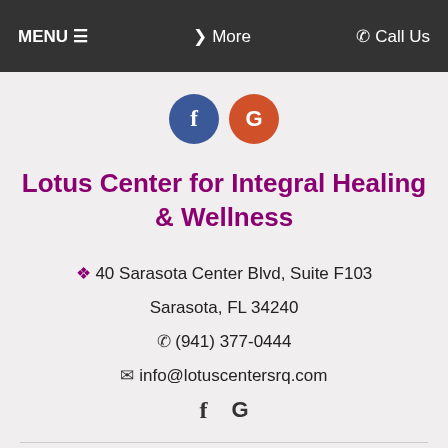MENU  ≡    ❯ More    ✆ Call Us
[Figure (logo): Facebook (blue circle with f) and Google (orange circle with G) social media icons]
Lotus Center for Integral Healing & Wellness
📍 40 Sarasota Center Blvd, Suite F103
Sarasota, FL 34240
✆ (941) 377-0444
✉ info@lotuscentersrq.com
[Figure (logo): Facebook (f) and Google (G) social icons in text style]
HOURS OF OPERATION:
Monday to Friday